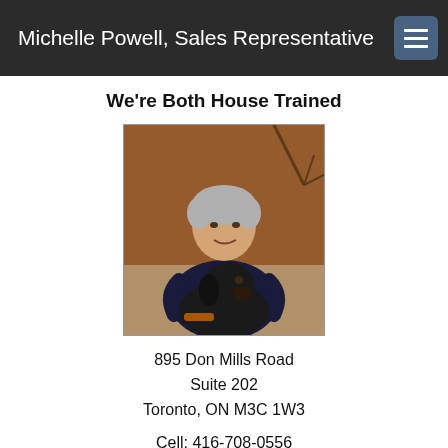Michelle Powell, Sales Representative
We're Both House Trained
[Figure (photo): Woman with short gray hair wearing dark clothing, holding a large black dog, seated outdoors with a brick wall and bare branches in background.]
895 Don Mills Road
Suite 202
Toronto, ON M3C 1W3
Cell: 416-708-0556
Fax: 416-391-0310
Home: